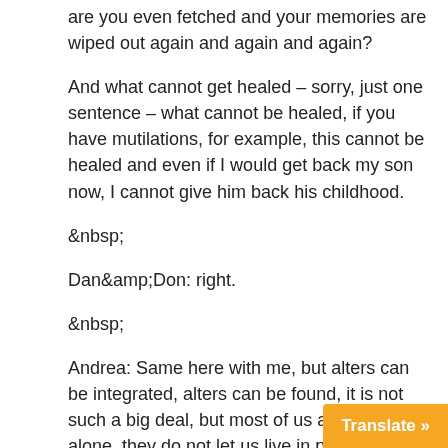are you even fetched and your memories are wiped out again and again and again?
And what cannot get healed – sorry, just one sentence – what cannot be healed, if you have mutilations, for example, this cannot be healed and even if I would get back my son now, I cannot give him back his childhood.
&nbsp;
Dan&amp;Don: right.
&nbsp;
Andrea: Same here with me, but alters can be integrated, alters can be found, it is not such a big deal, but most of us are not left alone, they do not let us live in peace, that ´s – for most of us – the problem, I think.